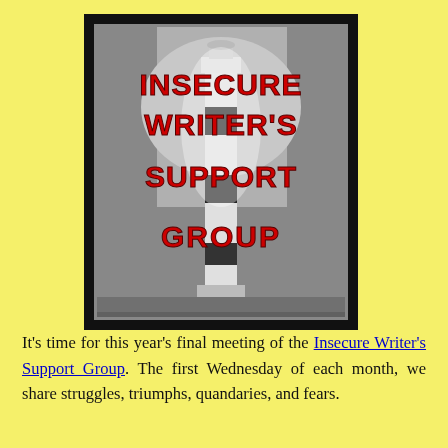[Figure (logo): Insecure Writer's Support Group logo: black and white lighthouse photograph with bold red text reading INSECURE WRITER'S SUPPORT GROUP overlaid, inside a dark frame with grey inner border.]
It's time for this year's final meeting of the Insecure Writer's Support Group. The first Wednesday of each month, we share struggles, triumphs, quandaries, and fears.